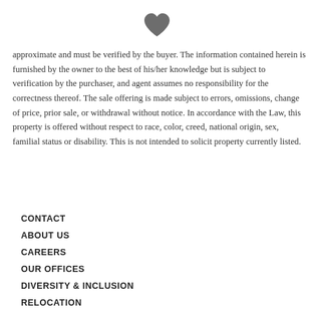[Figure (illustration): Dark gray heart icon centered at top of page]
approximate and must be verified by the buyer. The information contained herein is furnished by the owner to the best of his/her knowledge but is subject to verification by the purchaser, and agent assumes no responsibility for the correctness thereof. The sale offering is made subject to errors, omissions, change of price, prior sale, or withdrawal without notice. In accordance with the Law, this property is offered without respect to race, color, creed, national origin, sex, familial status or disability. This is not intended to solicit property currently listed.
CONTACT
ABOUT US
CAREERS
OUR OFFICES
DIVERSITY & INCLUSION
RELOCATION